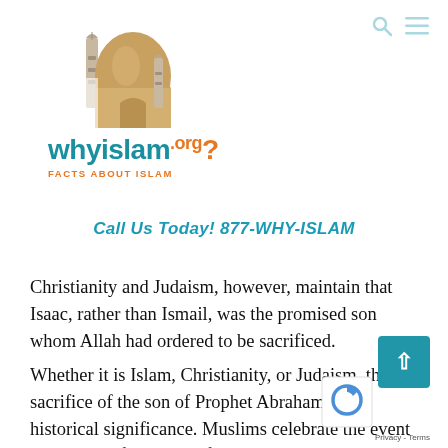[Figure (logo): WhyIslam.org logo with mosque illustration and tagline 'Facts About Islam']
Call Us Today! 877-WHY-ISLAM
Christianity and Judaism, however, maintain that Isaac, rather than Ismail, was the promised son whom Allah had ordered to be sacrificed.
Whether it is Islam, Christianity, or Judaism, the sacrifice of the son of Prophet Abraham has historical significance. Muslims celebrate the event through the festivities of Eid-ul-Adha as customary